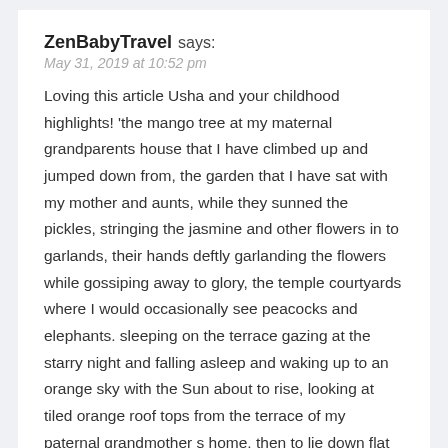ZenBabyTravel says:
May 31, 2019 at 10:52 pm
Loving this article Usha and your childhood highlights! 'the mango tree at my maternal grandparents house that I have climbed up and jumped down from, the garden that I have sat with my mother and aunts, while they sunned the pickles, stringing the jasmine and other flowers in to garlands, their hands deftly garlanding the flowers while gossiping away to glory, the temple courtyards where I would occasionally see peacocks and elephants. sleeping on the terrace gazing at the starry night and falling asleep and waking up to an orange sky with the Sun about to rise, looking at tiled orange roof tops from the terrace of my paternal grandmother s home, then to lie down flat on the hot surface of the terrace, peering down the small sun roof in to the kitchen watching my grandmother and mother stirring the pots, clanging the vessels, cutting vegetables, and smelling rich, afternoon indulgences from the... We